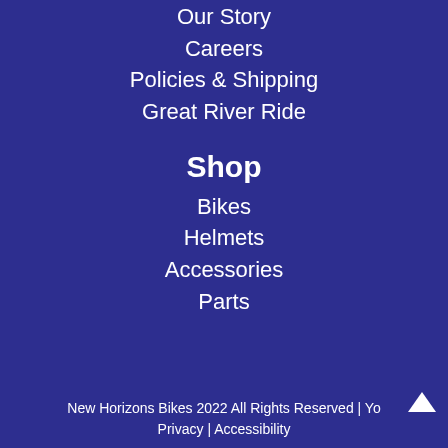Our Story
Careers
Policies & Shipping
Great River Ride
Shop
Bikes
Helmets
Accessories
Parts
New Horizons Bikes 2022 All Rights Reserved | Yo Privacy | Accessibility